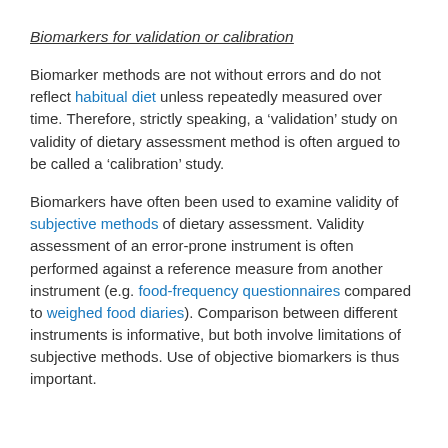Biomarkers for validation or calibration
Biomarker methods are not without errors and do not reflect habitual diet unless repeatedly measured over time. Therefore, strictly speaking, a ‘validation’ study on validity of dietary assessment method is often argued to be called a ‘calibration’ study.
Biomarkers have often been used to examine validity of subjective methods of dietary assessment. Validity assessment of an error-prone instrument is often performed against a reference measure from another instrument (e.g. food-frequency questionnaires compared to weighed food diaries). Comparison between different instruments is informative, but both involve limitations of subjective methods. Use of objective biomarkers is thus important.